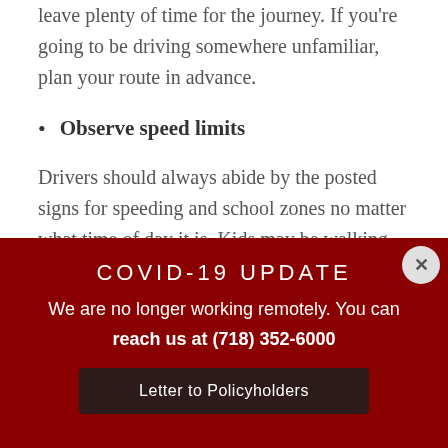leave plenty of time for the journey. If you're going to be driving somewhere unfamiliar, plan your route in advance.
Observe speed limits
Drivers should always abide by the posted signs for speeding and school zones no matter what time of day it is. Kids may be walking home from school in the
COVID-19 UPDATE
We are no longer working remotely. You can reach us at (718) 352-6000
Letter to Policyholders